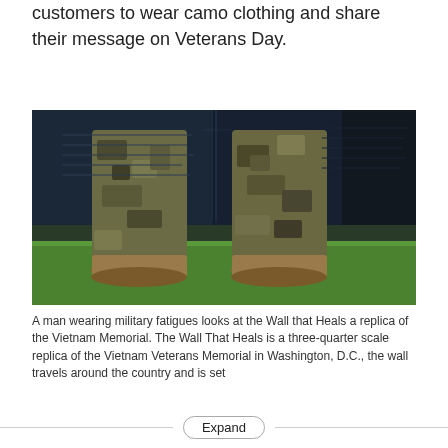customers to wear camo clothing and share their message on Veterans Day.
[Figure (photo): Lower half of a soldier in camouflage military fatigues and tan combat boots standing on green grass in front of a dark wall (replica of the Vietnam Veterans Memorial).]
A man wearing military fatigues looks at the Wall that Heals a replica of the Vietnam Memorial. The Wall That Heals is a three-quarter scale replica of the Vietnam Veterans Memorial in Washington, D.C., the wall travels around the country and is set
Expand